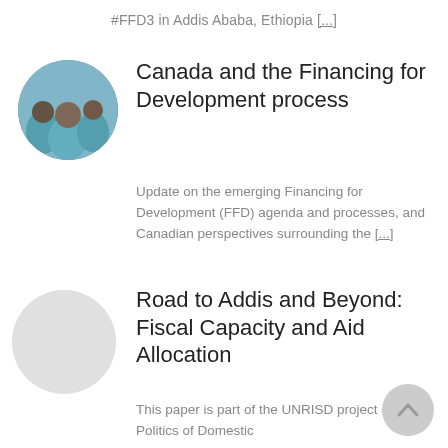#FFD3 in Addis Ababa, Ethiopia [...]
[Figure (photo): Circular cropped photo of people seated at a conference or meeting, seen from behind, with teal/blue chairs.]
Canada and the Financing for Development process
Update on the emerging Financing for Development (FFD) agenda and processes, and Canadian perspectives surrounding the [...]
[Figure (illustration): Circular grey placeholder image for the second article.]
Road to Addis and Beyond: Fiscal Capacity and Aid Allocation
This paper is part of the UNRISD project on The Politics of Domestic